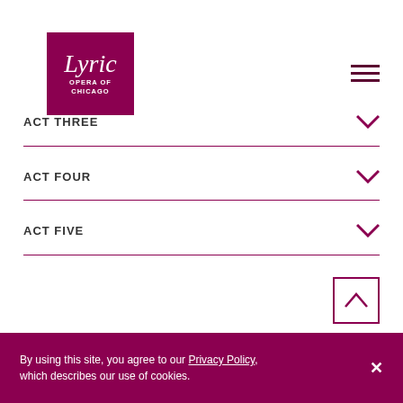[Figure (logo): Lyric Opera of Chicago logo — dark magenta square with italic 'Lyric' in white serif font, 'OPERA OF CHICAGO' in small white caps below]
[Figure (other): Hamburger menu icon — three horizontal dark magenta lines]
ACT THREE
ACT FOUR
ACT FIVE
[Figure (other): Back to top button — square border with upward chevron]
By using this site, you agree to our Privacy Policy, which describes our use of cookies.